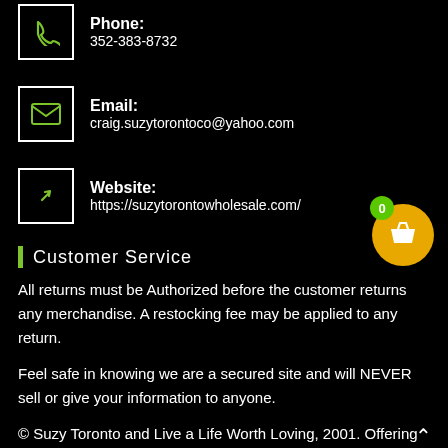Phone: 352-383-8732
Email: craig.suzytorontoco@yahoo.com
Website: https://suzytorontowholesale.com/
Customer Service
All returns must be Authorized before the customer returns any merchandise. A restocking fee may be applied to any return.
Feel safe in knowing we are a secured site and will NEVER sell or give your information to anyone.
© Suzy Toronto and Live a Life Worth Loving, 2001. Offering a large selection of Uplifting, Inspiring and Empowering gifts for women sure to make your heart “Tingle”. Unauthorized use and/or duplication of this material without express and written permission